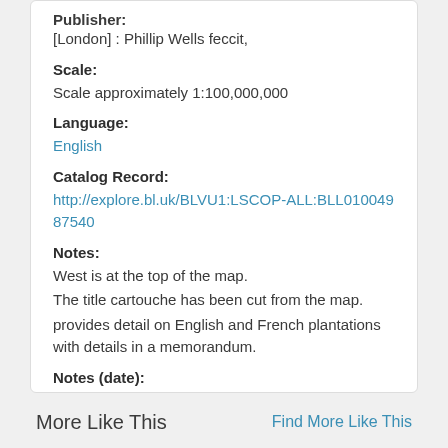Publisher:
[London] : Phillip Wells feccit,
Scale:
Scale approximately 1:100,000,000
Language:
English
Catalog Record:
http://explore.bl.uk/BLVU1:LSCOP-ALL:BLL01004987540
Notes:
West is at the top of the map.
The title cartouche has been cut from the map.
provides detail on English and French plantations with details in a memorandum.
Notes (date):
9999
More Like This
Find More Like This